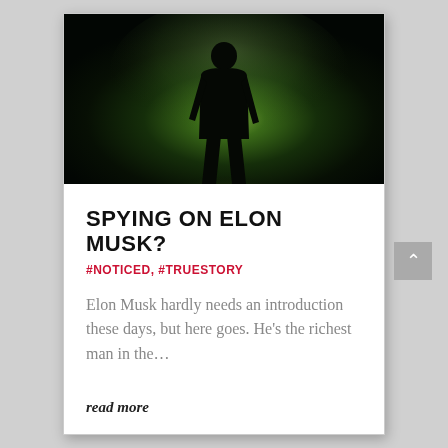[Figure (photo): Dark atmospheric photo of a person standing as a silhouette against a misty green-lit background, viewed from behind]
SPYING ON ELON MUSK?
#NOTICED, #TRUESTORY
Elon Musk hardly needs an introduction these days, but here goes. He’s the richest man in the…
read more